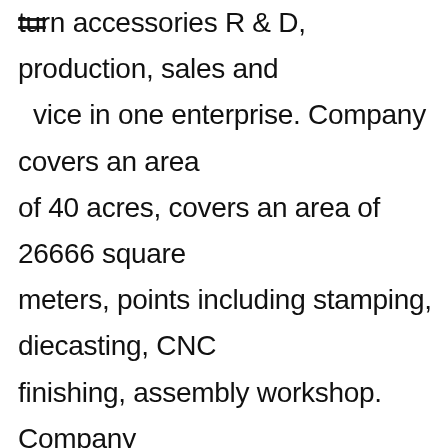turn accessories R & D, production, sales and vice in one enterprise. Company covers an area of 40 acres, covers an area of 26666 square meters, points including stamping, diecasting, CNC finishing, assembly workshop. Company comprehensive practice of modern enterprisemanagement system, through the ISO/TS 16949 quality management certification, the height of productioninformation. Among them, 6 senior engineers, 14 management, and more than 200 workers. Company annual production can: the brake chamber 1000000pcs, brake valve 2000000 pcs, slack adjuster 700000pcs.Annual output value over 100000000 yuan. The company in good faith for the purpose of win-win, innovationbeyond, to